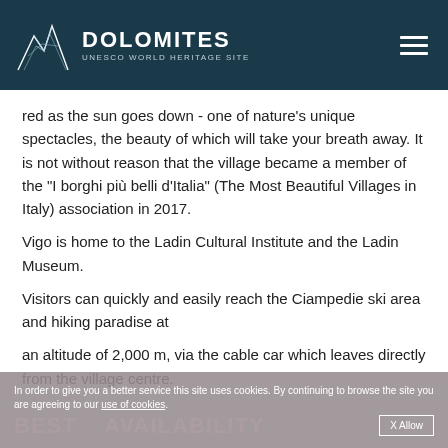DOLOMITES UNESCO WORLD HERITAGE SITE
red as the sun goes down - one of nature's unique spectacles, the beauty of which will take your breath away. It is not without reason that the village became a member of the "I borghi più belli d'Italia" (The Most Beautiful Villages in Italy) association in 2017.
Vigo is home to the Ladin Cultural Institute and the Ladin Museum.
Visitors can quickly and easily reach the Ciampedie ski area and hiking paradise at
an altitude of 2,000 m, via the cable car which leaves directly from the village centre.
In order to give you a better service this site uses cookies. By continuing to browse the site you are agreeing to our use of cookies.  X Allow